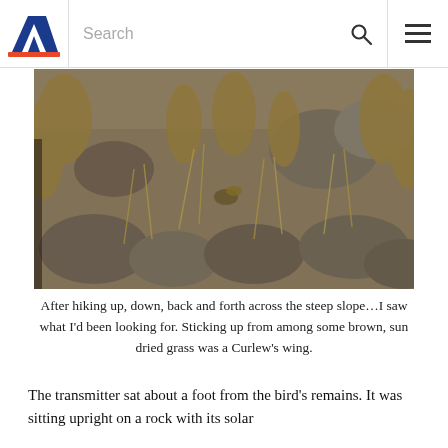Boise State University — Search navigation header
[Figure (photo): Rocky hillside with dry brown grass and scattered boulders; a partially visible bird or wing is camouflaged among the rocks and dried grass in the center of the image.]
After hiking up, down, back and forth across the steep slope…I saw what I'd been looking for. Sticking up from among some brown, sun dried grass was a Curlew's wing.
The transmitter sat about a foot from the bird's remains. It was sitting upright on a rock with its solar